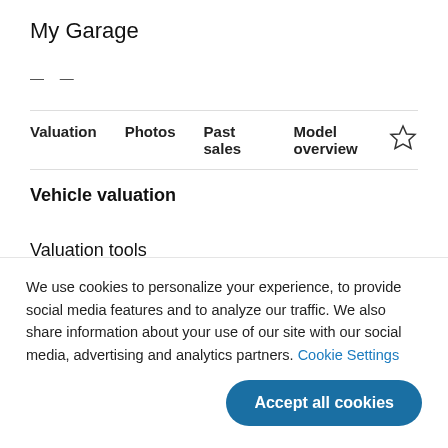My Garage
— —
Valuation   Photos   Past sales   Model overview
Vehicle valuation
Valuation tools
Market articles
We use cookies to personalize your experience, to provide social media features and to analyze our traffic. We also share information about your use of our site with our social media, advertising and analytics partners. Cookie Settings
Accept all cookies